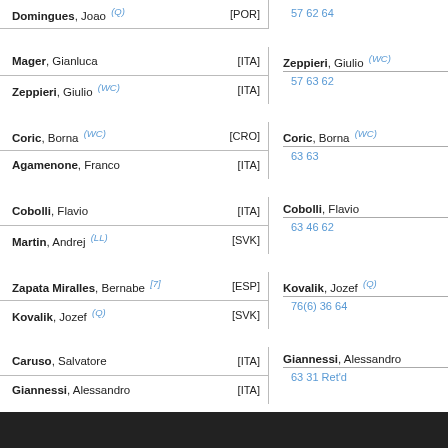| Player | Country | Result/Winner |
| --- | --- | --- |
| Domingues, Joao (Q) | [POR] | 57 62 64 |
| Mager, Gianluca | [ITA] | Zeppieri, Giulio (WC) | 57 63 62 |
| Zeppieri, Giulio (WC) | [ITA] |  |
| Coric, Borna (WC) | [CRO] | Coric, Borna (WC) | 63 63 |
| Agamenone, Franco | [ITA] |  |
| Cobolli, Flavio | [ITA] | Cobolli, Flavio | 63 46 62 |
| Martin, Andrej (LL) | [SVK] |  |
| Zapata Miralles, Bernabe [7] | [ESP] | Kovalik, Jozef (Q) | 76(6) 36 64 |
| Kovalik, Jozef (Q) | [SVK] |  |
| Caruso, Salvatore | [ITA] | Giannessi, Alessandro | 63 31 Ret'd |
| Giannessi, Alessandro | [ITA] |  |
| Guinard, Manuel | [FRA] |  |